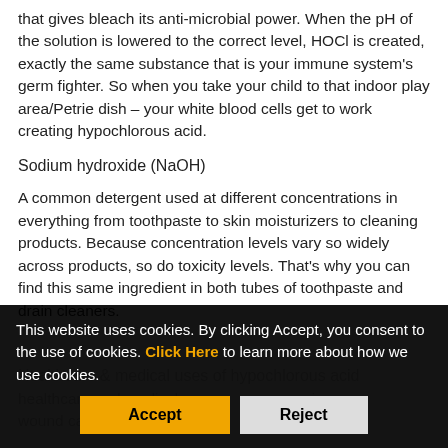that gives bleach its anti-microbial power. When the pH of the solution is lowered to the correct level, HOCl is created, exactly the same substance that is your immune system's germ fighter. So when you take your child to that indoor play area/Petrie dish – your white blood cells get to work creating hypochlorous acid.
Sodium hydroxide (NaOH)
A common detergent used at different concentrations in everything from toothpaste to skin moisturizers to cleaning products. Because concentration levels vary so widely across products, so do toxicity levels. That's why you can find this same ingredient in both tubes of toothpaste and drain cleaners.
Healthcare & medical uses of hypochlorous acid
The medical use of hypochlorous acid in the healthcare and medical profession has really taken off in wound care and medical... are proven to...
This website uses cookies. By clicking Accept, you consent to the use of cookies. Click Here to learn more about how we use cookies.